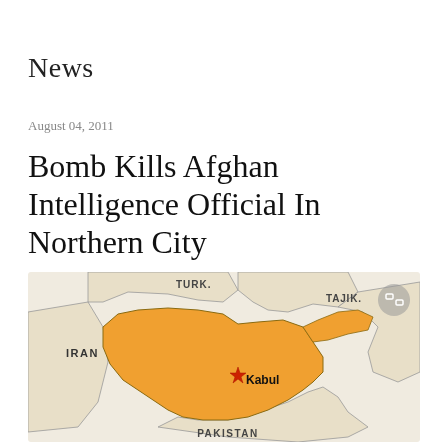News
August 04, 2011
Bomb Kills Afghan Intelligence Official In Northern City
[Figure (map): Map showing Afghanistan (highlighted in orange) with surrounding countries labeled: TURK. (Turkmenistan) to the north, TAJIK. (Tajikistan) to the northeast, IRAN to the west, PAKISTAN to the south. Kabul is marked with a red star symbol in the center-east of Afghanistan.]